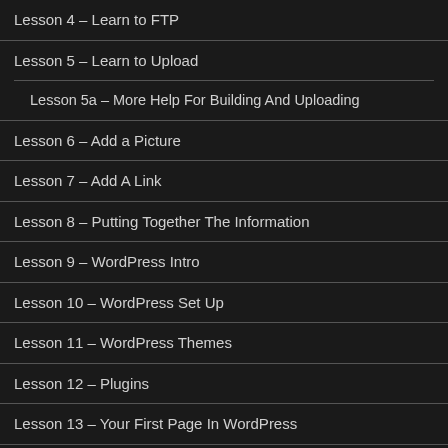Lesson 4 – Learn to FTP
Lesson 5 – Learn to Upload
Lesson 5a – More Help For Building And Uploading
Lesson 6 – Add a Picture
Lesson 7 – Add A Link
Lesson 8 – Putting Together The Information
Lesson 9 – WordPress Intro
Lesson 10 – WordPress Set Up
Lesson 11 – WordPress Themes
Lesson 12 – Plugins
Lesson 13 – Your First Page In WordPress
Lesson 14 – Your First Post In WordPress
Lesson 15 – How FTP Works With WordPress